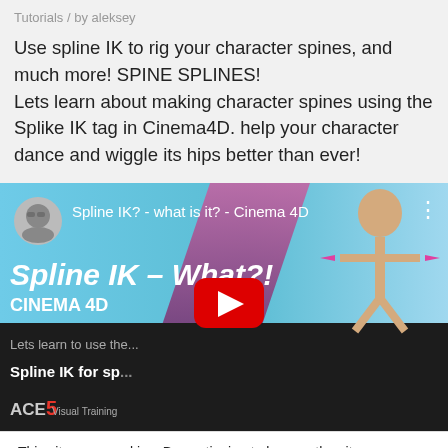Tutorials / by aleksey
Use spline IK to rig your character spines, and much more! SPINE SPLINES!
Lets learn about making character spines using the Splike IK tag in Cinema4D. help your character dance and wiggle its hips better than ever!
[Figure (screenshot): YouTube video thumbnail for 'Spline IK? - what is it? - Cinema 4D' showing a 3D character rigging tutorial. Top bar shows channel avatar and video title. Main area has 'Spline IK – What?! CINEMA 4D' text in bold italic over a cyan/pink gradient background with a 3D character figure. YouTube play button overlay visible. Bottom dark strip shows lower text and ACE5 logo.]
This site uses cookies. By continuing to browse the site, you are agreeing to our use of cookies.